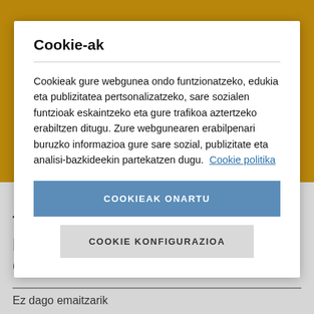Cookie-ak
Cookieak gure webgunea ondo funtzionatzeko, edukia eta publizitatea pertsonalizatzeko, sare sozialen funtzioak eskaintzeko eta gure trafikoa aztertzeko erabiltzen ditugu. Zure webgunearen erabilpenari buruzko informazioa gure sare sozial, publizitate eta analisi-bazkideekin partekatzen dugu. Cookie politika
COOKIEAK ONARTU
COOKIE KONFIGURAZIOA
THEORY - ALDIZKARIA - IEEE MICROWAVE AND WIRELESS COMPONENTS LETTERS
Ez dago emaitzarik